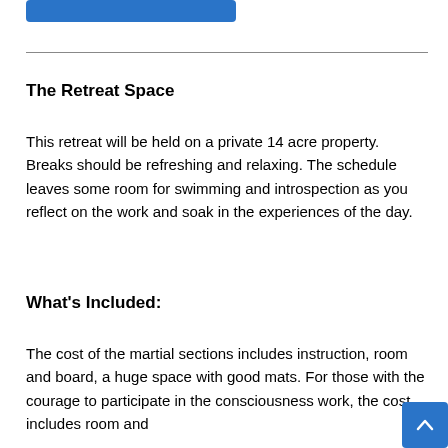[Figure (other): Blue rounded rectangle bar at top left]
The Retreat Space
This retreat will be held on a private 14 acre property. Breaks should be refreshing and relaxing. The schedule leaves some room for swimming and introspection as you reflect on the work and soak in the experiences of the day.
What's Included:
The cost of the martial sections includes instruction, room and board, a huge space with good mats. For those with the courage to participate in the consciousness work, the cost includes room and
[Figure (other): Blue scroll-to-top button at bottom right with upward chevron arrow]